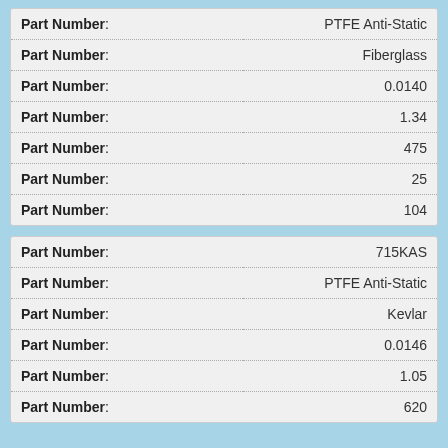| Part Number | Value |
| --- | --- |
| Part Number: | PTFE Anti-Static |
| Part Number: | Fiberglass |
| Part Number: | 0.0140 |
| Part Number: | 1.34 |
| Part Number: | 475 |
| Part Number: | 25 |
| Part Number: | 104 |
| Part Number | Value |
| --- | --- |
| Part Number: | 715KAS |
| Part Number: | PTFE Anti-Static |
| Part Number: | Kevlar |
| Part Number: | 0.0146 |
| Part Number: | 1.05 |
| Part Number: | 620 |